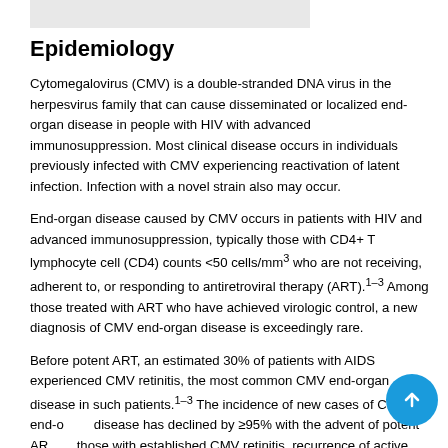[Figure (photo): Partial image at top of page, light gray rectangle]
Epidemiology
Cytomegalovirus (CMV) is a double-stranded DNA virus in the herpesvirus family that can cause disseminated or localized end-organ disease in people with HIV with advanced immunosuppression. Most clinical disease occurs in individuals previously infected with CMV experiencing reactivation of latent infection. Infection with a novel strain also may occur.
End-organ disease caused by CMV occurs in patients with HIV and advanced immunosuppression, typically those with CD4+ T lymphocyte cell (CD4) counts <50 cells/mm3 who are not receiving, adherent to, or responding to antiretroviral therapy (ART).1–3 Among those treated with ART who have achieved virologic control, a new diagnosis of CMV end-organ disease is exceedingly rare.
Before potent ART, an estimated 30% of patients with AIDS experienced CMV retinitis, the most common CMV end-organ disease in such patients.1–3 The incidence of new cases of CMV end-organ disease has declined by ≥95% with the advent of potent ART. In those with established CMV retinitis, recurrence of active lesions may occur, substantively lower than that occurring in the pre-ART era.